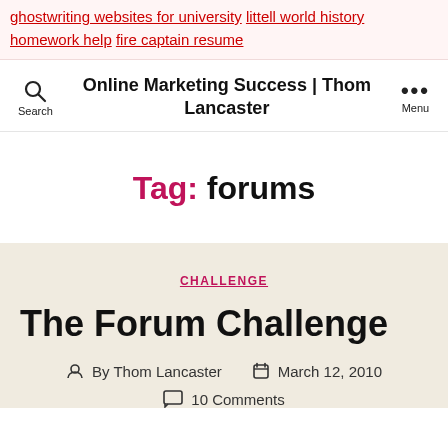ghostwriting websites for university littell world history homework help fire captain resume
Online Marketing Success | Thom Lancaster
Tag: forums
CHALLENGE
The Forum Challenge
By Thom Lancaster  March 12, 2010
10 Comments